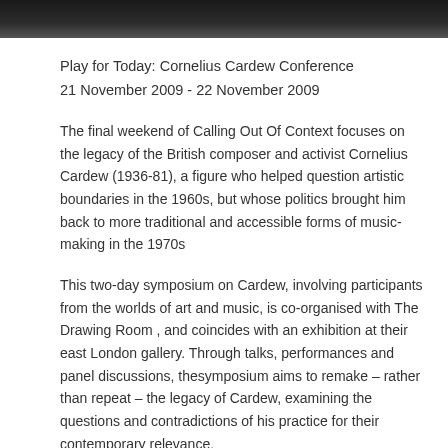[Figure (photo): Dark photograph strip at top of page, showing a dark blurred background image]
Play for Today: Cornelius Cardew Conference
21 November 2009 - 22 November 2009
The final weekend of Calling Out Of Context focuses on the legacy of the British composer and activist Cornelius Cardew (1936-81), a figure who helped question artistic boundaries in the 1960s, but whose politics brought him back to more traditional and accessible forms of music-making in the 1970s
This two-day symposium on Cardew, involving participants from the worlds of art and music, is co-organised with The Drawing Room , and coincides with an exhibition at their east London gallery. Through talks, performances and panel discussions, thesymposium aims to remake – rather than repeat – the legacy of Cardew, examining the questions and contradictions of his practice for their contemporary relevance.
On both days of the symposium, artists and activists Ultra-red will be in the lower gallery with the School of Echoes, performing and